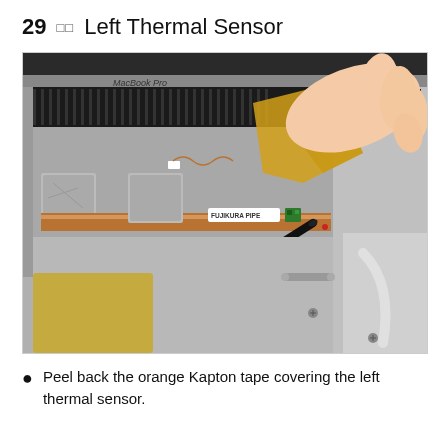29 □□   Left Thermal Sensor
[Figure (photo): A MacBook Pro opened and viewed from above showing internal components. Two hands are manipulating the left thermal sensor area. One hand (upper right) peels back a yellow/orange Kapton tape covering a small green circuit board sensor situated on a copper heat pipe. The other hand (lower left) holds a black spudger tool. A label reading 'FUJIKURA PIPE' is visible on the copper heat pipe. Gray thermal pads and copper heat pipes are visible, along with the MacBook Pro logo on the chassis edge.]
Peel back the orange Kapton tape covering the left thermal sensor.